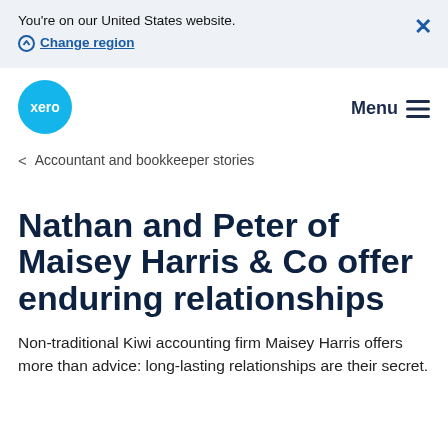You're on our United States website. Change region
[Figure (logo): Xero logo — teal circle with 'xero' text in white]
Menu
< Accountant and bookkeeper stories
Nathan and Peter of Maisey Harris & Co offer enduring relationships
Non-traditional Kiwi accounting firm Maisey Harris offers more than advice: long-lasting relationships are their secret.